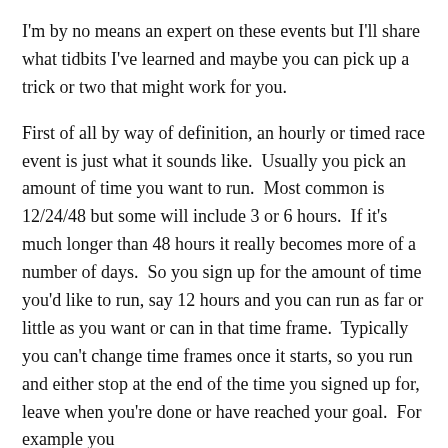I'm by no means an expert on these events but I'll share what tidbits I've learned and maybe you can pick up a trick or two that might work for you.
First of all by way of definition, an hourly or timed race event is just what it sounds like.  Usually you pick an amount of time you want to run.  Most common is 12/24/48 but some will include 3 or 6 hours.  If it's much longer than 48 hours it really becomes more of a number of days.  So you sign up for the amount of time you'd like to run, say 12 hours and you can run as far or little as you want or can in that time frame.  Typically you can't change time frames once it starts, so you run and either stop at the end of the time you signed up for,  leave when you're done or have reached your goal.  For example you